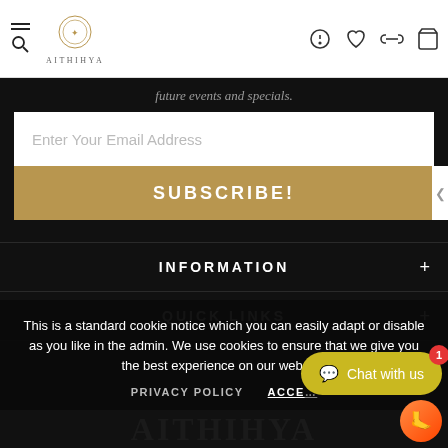AITHIHYA navigation bar with logo and icons
future events and specials.
Enter Your Email Address
SUBSCRIBE!
INFORMATION
QUICK LINKS
POLICIES
This is a standard cookie notice which you can easily adapt or disable as you like in the admin. We use cookies to ensure that we give you the best experience on our website.
PRIVACY POLICY   ACCEPT